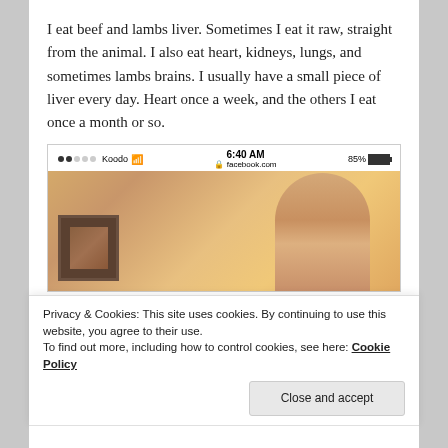I eat beef and lambs liver. Sometimes I eat it raw, straight from the animal. I also eat heart, kidneys, lungs, and sometimes lambs brains. I usually have a small piece of liver every day. Heart once a week, and the others I eat once a month or so.
[Figure (screenshot): A screenshot of a smartphone browser (Koodo carrier, 6:40 AM, 85% battery) showing facebook.com, with a photo of a bald man with a framed picture on the wall behind him.]
Privacy & Cookies: This site uses cookies. By continuing to use this website, you agree to their use.
To find out more, including how to control cookies, see here: Cookie Policy
Close and accept